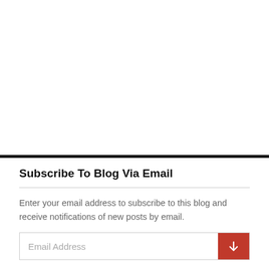Subscribe To Blog Via Email
Enter your email address to subscribe to this blog and receive notifications of new posts by email.